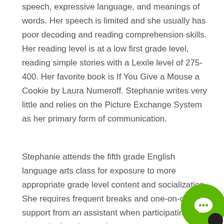speech, expressive language, and meanings of words. Her speech is limited and she usually has poor decoding and reading comprehension skills. Her reading level is at a low first grade level, reading simple stories with a Lexile level of 275-400. Her favorite book is If You Give a Mouse a Cookie by Laura Numeroff. Stephanie writes very little and relies on the Picture Exchange System as her primary form of communication.
Stephanie attends the fifth grade English language arts class for exposure to more appropriate grade level content and socialization. She requires frequent breaks and one-on-one support from an assistant when participating in the general education setting.